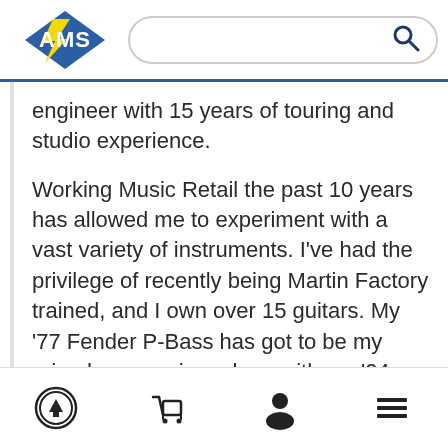AMS logo and search bar
engineer with 15 years of touring and studio experience.
Working Music Retail the past 10 years has allowed me to experiment with a vast variety of instruments. I've had the privilege of recently being Martin Factory trained, and I own over 15 guitars. My '77 Fender P-Bass has got to be my prized possession, along with my '04 Gibson LP Standard AA flame top you see me playing in my profile picture. I'm also an accomplished gigging drummer, vocalist and keyboard player. Music is
Navigation icons: scroll up, cart, user, menu